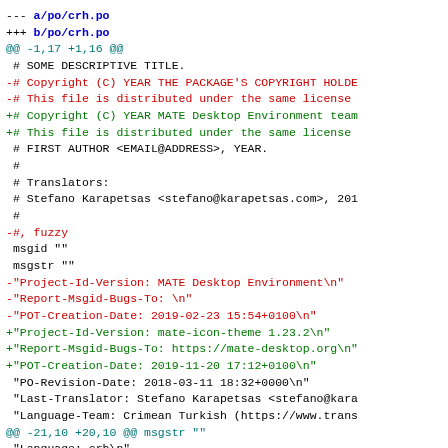--- a/po/crh.po
+++ b/po/crh.po
@@ -1,17 +1,16 @@
 # SOME DESCRIPTIVE TITLE.
-# Copyright (C) YEAR THE PACKAGE'S COPYRIGHT HOLDE
-# This file is distributed under the same license
+# Copyright (C) YEAR MATE Desktop Environment team
+# This file is distributed under the same license
 # FIRST AUTHOR <EMAIL@ADDRESS>, YEAR.
 #
 # Translators:
 # Stefano Karapetsas <stefano@karapetsas.com>, 201
 #
-#, fuzzy
 msgid ""
 msgstr ""
-"Project-Id-Version: MATE Desktop Environment\n"
-"Report-Msgid-Bugs-To: \n"
-"POT-Creation-Date: 2019-02-23 15:54+0100\n"
+"Project-Id-Version: mate-icon-theme 1.23.2\n"
+"Report-Msgid-Bugs-To: https://mate-desktop.org\n"
+"POT-Creation-Date: 2019-11-20 17:12+0100\n"
 "PO-Revision-Date: 2018-03-11 18:32+0000\n"
 "Last-Translator: Stefano Karapetsas <stefano@kara
 "Language-Team: Crimean Turkish (https://www.trans
@@ -21,10 +20,10 @@ msgstr ""
 "Language: crh\n"
 "Plural-Forms: nplurals=2; plural=(n > 1);\n"

-#: ../index.theme.in.in.h:1